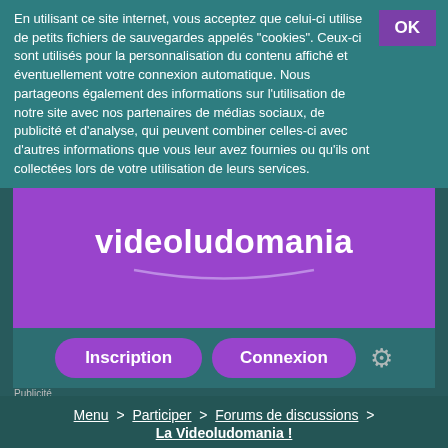En utilisant ce site internet, vous acceptez que celui-ci utilise de petits fichiers de sauvegardes appelés "cookies". Ceux-ci sont utilisés pour la personnalisation du contenu affiché et éventuellement votre connexion automatique. Nous partageons également des informations sur l'utilisation de notre site avec nos partenaires de médias sociaux, de publicité et d'analyse, qui peuvent combiner celles-ci avec d'autres informations que vous leur avez fournies ou qu'ils ont collectées lors de votre utilisation de leurs services.
[Figure (logo): videoludomania logo in white text on purple background with smile arc]
Inscription
Connexion
Publicité
Menu  >  Participer  >  Forums de discussions  >  La Videoludomania !